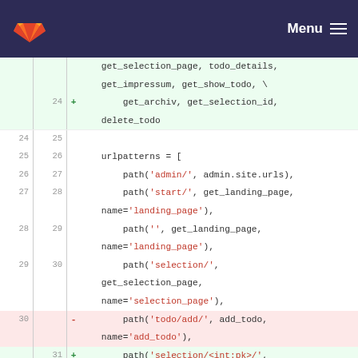GitLab header with logo and Menu
[Figure (screenshot): GitLab code diff view showing Python URL patterns file changes. Lines 24-32 showing added and removed lines for Django URL configuration including paths for admin, start/landing_page, selection_page, todo/add, selection/<int:pk>/, and todo/add/.]